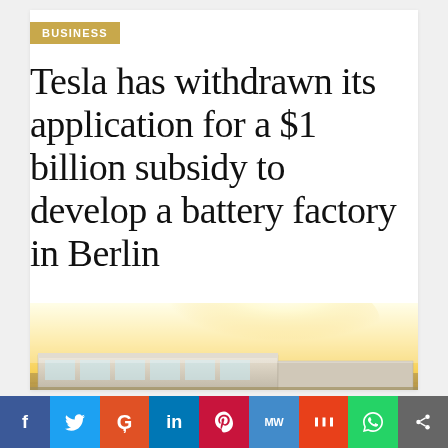BUSINESS
Tesla has withdrawn its application for a $1 billion subsidy to develop a battery factory in Berlin
[Figure (photo): Aerial rendering of Tesla factory/Gigafactory building surrounded by fields, with bright sunlit sky]
f  Twitter  Reddit  in  Pinterest  MW  Mix  WhatsApp  Share